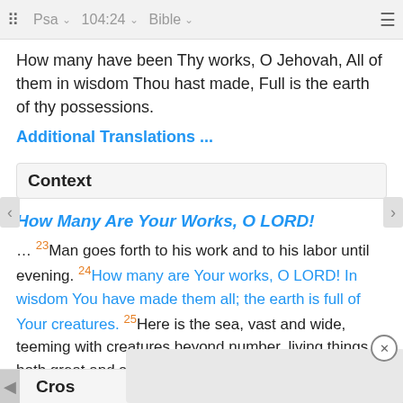⠿  Psa  ∨  104:24  ∨  Bible  ∨  ≡
How many have been Thy works, O Jehovah, All of them in wisdom Thou hast made, Full is the earth of thy possessions.
Additional Translations ...
Context
How Many Are Your Works, O LORD!
… 23Man goes forth to his work and to his labor until evening. 24How many are Your works, O LORD! In wisdom You have made them all; the earth is full of Your creatures. 25Here is the sea, vast and wide, teeming with creatures beyond number, living things both great and small....
Berean Study Bible · Download
Cros